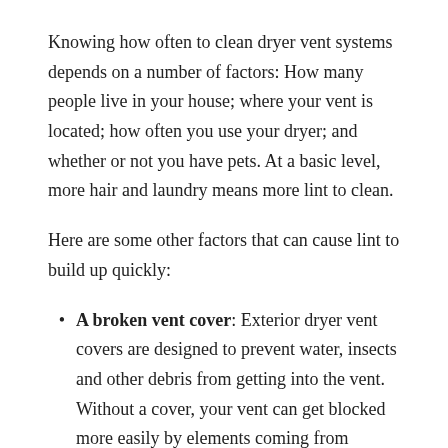Knowing how often to clean dryer vent systems depends on a number of factors: How many people live in your house; where your vent is located; how often you use your dryer; and whether or not you have pets. At a basic level, more hair and laundry means more lint to clean.
Here are some other factors that can cause lint to build up quickly:
A broken vent cover: Exterior dryer vent covers are designed to prevent water, insects and other debris from getting into the vent. Without a cover, your vent can get blocked more easily by elements coming from outside your home.
Improper ductwork: Bad materials and long,